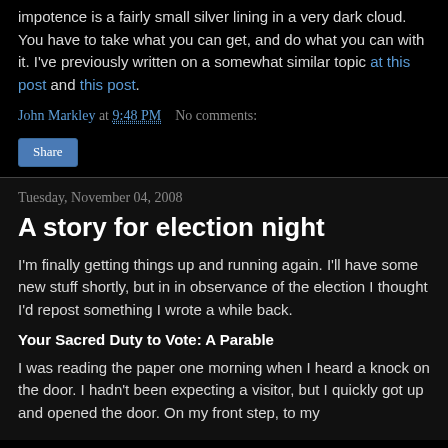impotence is a fairly small silver lining in a very dark cloud. You have to take what you can get, and do what you can with it. I've previously written on a somewhat similar topic at this post and this post.
John Markley at 9:48 PM   No comments:
Share
Tuesday, November 04, 2008
A story for election night
I'm finally getting things up and running again. I'll have some new stuff shortly, but in in observance of the election I thought I'd repost something I wrote a while back.
Your Sacred Duty to Vote: A Parable
I was reading the paper one morning when I heard a knock on the door. I hadn't been expecting a visitor, but I quickly got up and opened the door. On my front step, to my